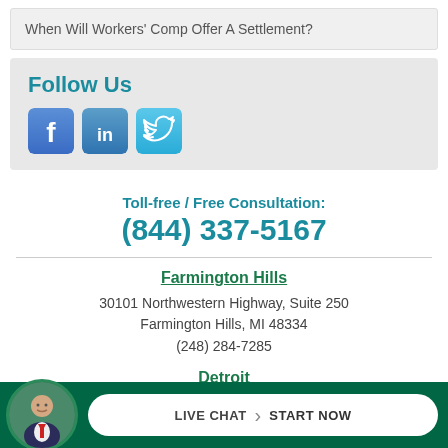When Will Workers' Comp Offer A Settlement?
Follow Us
[Figure (other): Social media icons: Facebook, LinkedIn, Twitter]
Toll-free / Free Consultation:
(844) 337-5167
Farmington Hills
30101 Northwestern Highway, Suite 250
Farmington Hills, MI 48334
(248) 284-7285
Detroit
[Figure (photo): Attorney portrait photo in circular frame with live chat button]
LIVE CHAT › START NOW